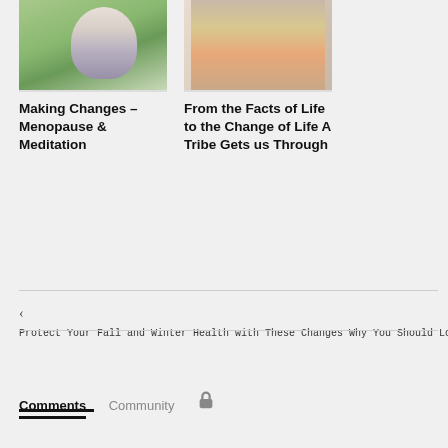[Figure (photo): Woman meditating outdoors in a garden setting, wearing a light blue outfit, sitting cross-legged]
Making Changes – Menopause & Meditation
[Figure (photo): Group of women standing together, wearing various colorful outfits including animal prints and orange]
From the Facts of Life to the Change of Life A Tribe Gets us Through
‹ Protect Your Fall and Winter Health with These Changes Why You Should Long-Term Care he
Comments   Community   🔒